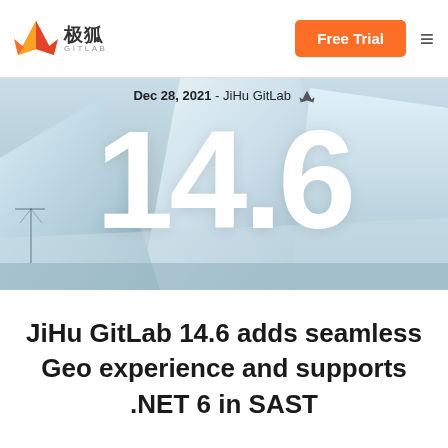[Figure (logo): JiHu GitLab fox mascot logo with Chinese characters 极狐 and GITLAB text]
Free Trial
[Figure (screenshot): Hero image showing an iceberg landscape with large white version number 14.6 overlaid, winter arctic scene]
Dec 28, 2021 - JiHu GitLab
14.6
JiHu GitLab 14.6 adds seamless Geo experience and supports .NET 6 in SAST